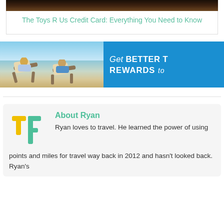[Figure (photo): Top portion of a card showing a dark brown wooden background image]
The Toys R Us Credit Card: Everything You Need to Know
[Figure (photo): Advertisement banner: left half shows two people in beach chairs relaxing by the ocean; right half is blue with text 'Get BETTER TRAVEL REWARDS to...' (partially cropped)]
About Ryan
Ryan loves to travel. He learned the power of using points and miles for travel way back in 2012 and hasn't looked back. Ryan's